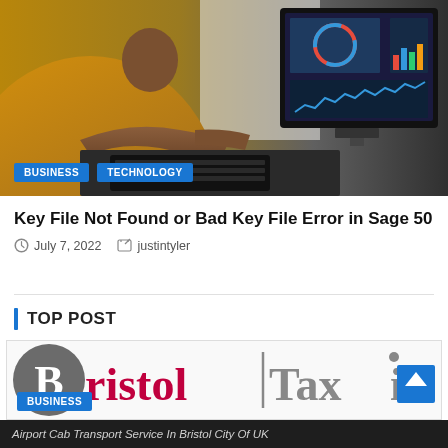[Figure (photo): Person in yellow top typing at a computer with a monitor showing data/charts in the background]
BUSINESS
TECHNOLOGY
Key File Not Found or Bad Key File Error in Sage 50
July 7, 2022  justintyler
TOP POST
[Figure (logo): Bristol Taxi logo with grey circle containing letter B, bristolTaxi in crimson and grey text with vertical separator]
BUSINESS
Airport Cab Transport Service In Bristol City Of UK